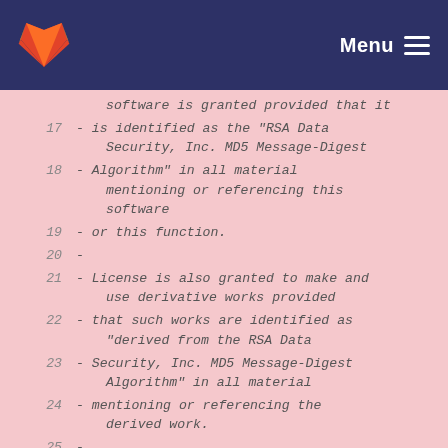GitLab — Menu
16  license to copy and use this software is granted provided that it
17  - is identified as the "RSA Data Security, Inc. MD5 Message-Digest
18  - Algorithm" in all material mentioning or referencing this software
19  - or this function.
20  -
21  - License is also granted to make and use derivative works provided
22  - that such works are identified as "derived from the RSA Data
23  - Security, Inc. MD5 Message-Digest Algorithm" in all material
24  - mentioning or referencing the derived work.
25  -
26  - RSA Data Security, Inc. makes no representations concerning either
27    the merchantability of this